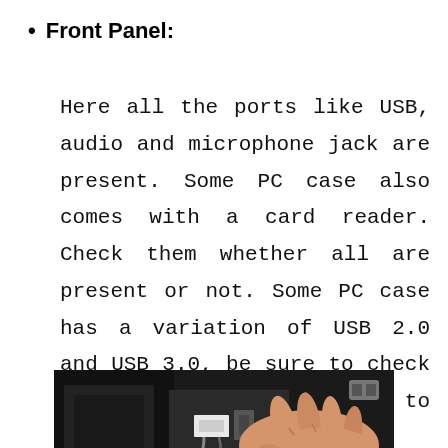Front Panel:
Here all the ports like USB, audio and microphone jack are present. Some PC case also comes with a card reader. Check them whether all are present or not. Some PC case has a variation of USB 2.0 and USB 3.0, be sure to check as all USB have upgraded to 3.0.
[Figure (photo): A hand connecting or inspecting a front panel cable/connector on a PC case, showing USB and audio ports area.]